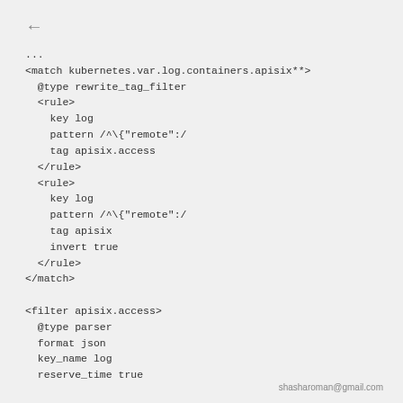←
...
<match kubernetes.var.log.containers.apisix**>
  @type rewrite_tag_filter
  <rule>
    key log
    pattern /^\{"remote":/
    tag apisix.access
  </rule>
  <rule>
    key log
    pattern /^\{"remote":/
    tag apisix
    invert true
  </rule>
</match>

<filter apisix.access>
  @type parser
  format json
  key_name log
  reserve_time true
shasharoman@gmail.com